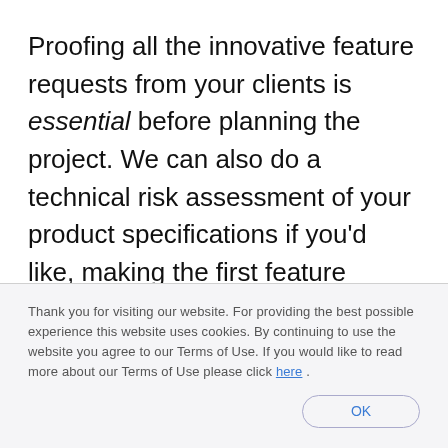Proofing all the innovative feature requests from your clients is essential before planning the project. We can also do a technical risk assessment of your product specifications if you'd like, making the first feature tackle decision easier.
If you discover another similar product with the same features that was created before, the products will be easy to compare on the market. So testing
Thank you for visiting our website. For providing the best possible experience this website uses cookies. By continuing to use the website you agree to our Terms of Use. If you would like to read more about our Terms of Use please click here.